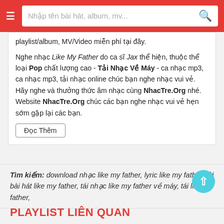Nhập tên bài hát, album, mv...
playlist/album, MV/Video miễn phí tại đây.
Nghe nhạc Like My Father do ca sĩ Jax thể hiện, thuộc thể loại Pop chất lượng cao - Tải Nhạc Về Máy - ca nhạc mp3, ca nhạc mp3, tải nhạc online chúc bạn nghe nhạc vui vẻ. Hãy nghe và thưởng thức âm nhạc cùng NhacTre.Org nhé.
Website NhacTre.Org chúc các bạn nghe nhạc vui vẻ hẹn sớm gặp lại các bạn.
Đọc Thêm
Tìm kiếm: download nhạc like my father, lyric like my father, lời bài hát like my father, tái nhạc like my father về máy, tái like my father,
PLAYLIST LIÊN QUAN